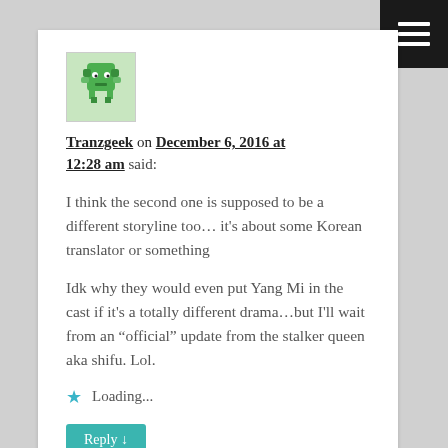[Figure (illustration): Small pixelated green creature avatar image]
Tranzgeek on December 6, 2016 at 12:28 am said:
I think the second one is supposed to be a different storyline too… it's about some Korean translator or something
Idk why they would even put Yang Mi in the cast if it's a totally different drama…but I'll wait from an “official” update from the stalker queen aka shifu. Lol.
Loading...
Reply ↓